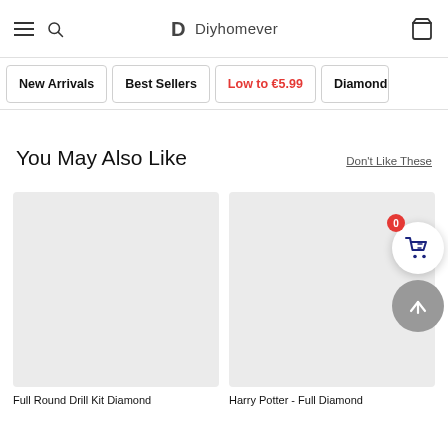Diyhomever
New Arrivals
Best Sellers
Low to €5.99
Diamond P
You May Also Like
Don't Like These
[Figure (photo): Product image placeholder — Full Round Drill Kit Diamond]
Full Round Drill Kit Diamond
[Figure (photo): Product image placeholder — Harry Potter - Full Diamond]
Harry Potter - Full Diamond